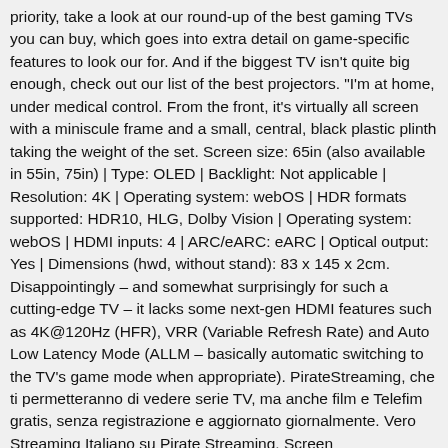priority, take a look at our round-up of the best gaming TVs you can buy, which goes into extra detail on game-specific features to look our for. And if the biggest TV isn't quite big enough, check out our list of the best projectors. "I'm at home, under medical control. From the front, it's virtually all screen with a miniscule frame and a small, central, black plastic plinth taking the weight of the set. Screen size: 65in (also available in 55in, 75in) | Type: OLED | Backlight: Not applicable | Resolution: 4K | Operating system: webOS | HDR formats supported: HDR10, HLG, Dolby Vision | Operating system: webOS | HDMI inputs: 4 | ARC/eARC: eARC | Optical output: Yes | Dimensions (hwd, without stand): 83 x 145 x 2cm. Disappointingly – and somewhat surprisingly for such a cutting-edge TV – it lacks some next-gen HDMI features such as 4K@120Hz (HFR), VRR (Variable Refresh Rate) and Auto Low Latency Mode (ALLM – basically automatic switching to the TV's game mode when appropriate). PirateStreaming, che ti permetteranno di vedere serie TV, ma anche film e Telefim gratis, senza registrazione e aggiornato giornalmente. Vero Streaming Italiano su Pirate Streaming. Screen